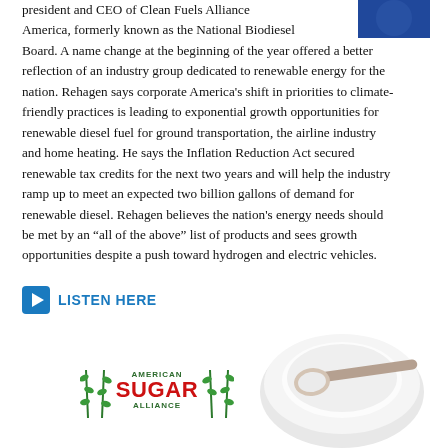[Figure (photo): Partial photo of a person in blue, top-right corner]
president and CEO of Clean Fuels Alliance America, formerly known as the National Biodiesel Board. A name change at the beginning of the year offered a better reflection of an industry group dedicated to renewable energy for the nation. Rehagen says corporate America's shift in priorities to climate-friendly practices is leading to exponential growth opportunities for renewable diesel fuel for ground transportation, the airline industry and home heating. He says the Inflation Reduction Act secured renewable tax credits for the next two years and will help the industry ramp up to meet an expected two billion gallons of demand for renewable diesel. Rehagen believes the nation's energy needs should be met by an “all of the above” list of products and sees growth opportunities despite a push toward hydrogen and electric vehicles.
LISTEN HERE
[Figure (logo): American Sugar Alliance logo with sugarcane stalks illustration]
[Figure (photo): Bowl of white sugar with a spoon, viewed from above]